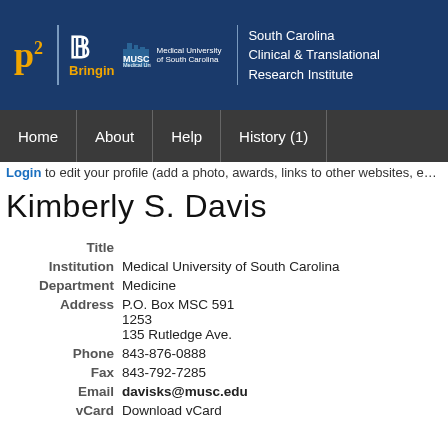[Figure (logo): P2 Bringin MUSC and South Carolina Clinical & Translational Research Institute header logo on dark blue background]
Home | About | Help | History (1)
Login to edit your profile (add a photo, awards, links to other websites, e…
Kimberly S. Davis
| Field | Value |
| --- | --- |
| Title |  |
| Institution | Medical University of South Carolina |
| Department | Medicine |
| Address | P.O. Box MSC 591
1253
135 Rutledge Ave. |
| Phone | 843-876-0888 |
| Fax | 843-792-7285 |
| Email | davisks@musc.edu |
| vCard | Download vCard |